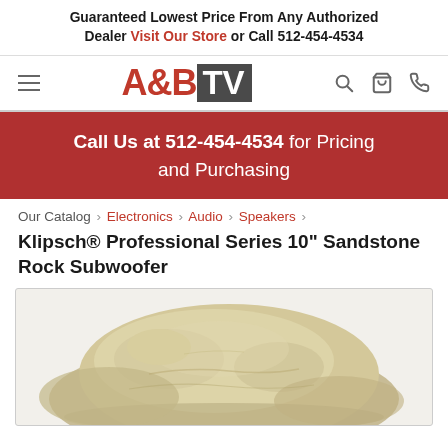Guaranteed Lowest Price From Any Authorized Dealer Visit Our Store or Call 512-454-4534
[Figure (logo): A&B TV logo with hamburger menu icon, search, cart, and phone icons in navigation bar]
Call Us at 512-454-4534 for Pricing and Purchasing
Our Catalog › Electronics › Audio › Speakers ›
Klipsch® Professional Series 10" Sandstone Rock Subwoofer
[Figure (photo): Photo of Klipsch Professional Series 10 inch Sandstone Rock Subwoofer — a beige/sandstone-colored speaker shaped like a rock]